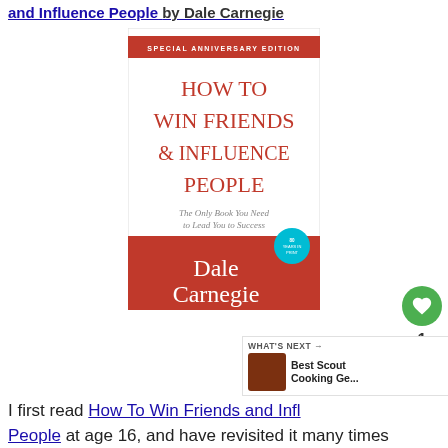and Influence People by Dale Carnegie
[Figure (photo): Book cover of 'How To Win Friends & Influence People' by Dale Carnegie, Special Anniversary Edition. White background with red serif title text, italic subtitle 'The Only Book You Need to Lead You to Success', and a red banner at the bottom with white text 'Dale Carnegie' and a teal badge '80 Years in Print'.]
I first read How To Win Friends and Influence People at age 16, and have revisited it many times